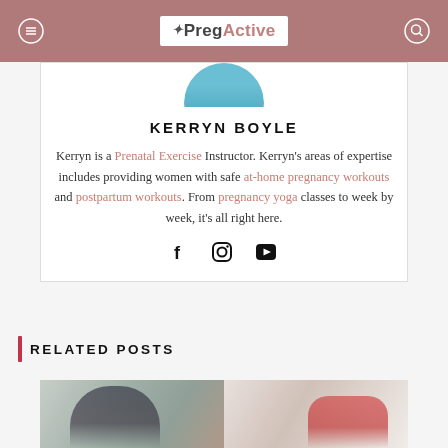PregActive
[Figure (photo): Profile photo of Kerryn Boyle, circular cropped, wearing teal top]
KERRYN BOYLE
Kerryn is a Prenatal Exercise Instructor. Kerryn's areas of expertise includes providing women with safe at-home pregnancy workouts and postpartum workouts. From pregnancy yoga classes to week by week, it's all right here.
[Figure (infographic): Social media icons: Facebook (f), Instagram, YouTube]
RELATED POSTS
[Figure (photo): Two photos of women exercising: left woman in teal top looking down, right woman in red top in yoga/exercise pose]